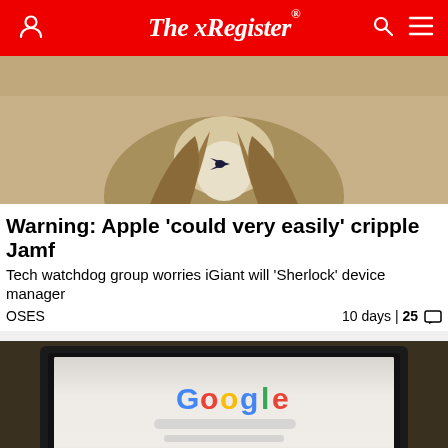The Register
[Figure (photo): Partial view of a person in a trench coat and bow tie, resembling a detective figure, cropped at chest level against a warm beige background]
Warning: Apple 'could very easily' cripple Jamf
Tech watchdog group worries iGiant will 'Sherlock' device manager
OSES   10 days | 25 comments
[Figure (photo): Laptop computer on a dark surface displaying the Google homepage with Google logo and search bar visible]